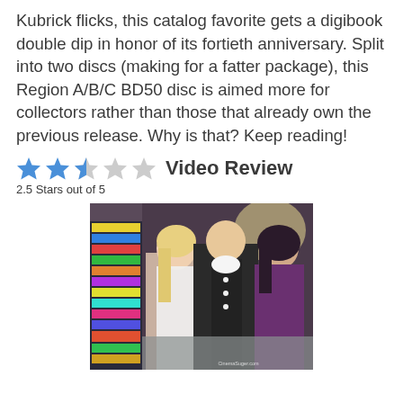Kubrick flicks, this catalog favorite gets a digibook double dip in honor of its fortieth anniversary. Split into two discs (making for a fatter package), this Region A/B/C BD50 disc is aimed more for collectors rather than those that already own the previous release. Why is that? Keep reading!
★★★☆☆ Video Review
2.5 Stars out of 5
[Figure (photo): A movie still showing three young people, two women and a man, standing close together in what appears to be a shop or store environment with colorful shelves in the background. A watermark reads CinemaSupercom.]